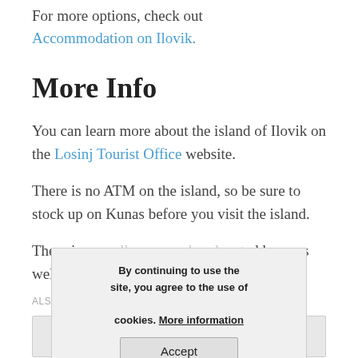For more options, check out Accommodation on Ilovik.
More Info
You can learn more about the island of Ilovik on the Losinj Tourist Office website.
There is no ATM on the island, so be sure to stock up on Kunas before you visit the island.
There is a small grocery shop located here, as well as a post office.
ALSO ON VISIT CROATIA
By continuing to use the site, you agree to the use of cookies. More information Accept